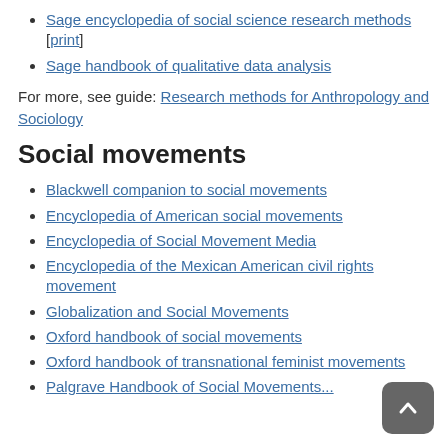Sage encyclopedia of social science research methods [print]
Sage handbook of qualitative data analysis
For more, see guide: Research methods for Anthropology and Sociology
Social movements
Blackwell companion to social movements
Encyclopedia of American social movements
Encyclopedia of Social Movement Media
Encyclopedia of the Mexican American civil rights movement
Globalization and Social Movements
Oxford handbook of social movements
Oxford handbook of transnational feminist movements
Palgrave Handbook of Social Movements...